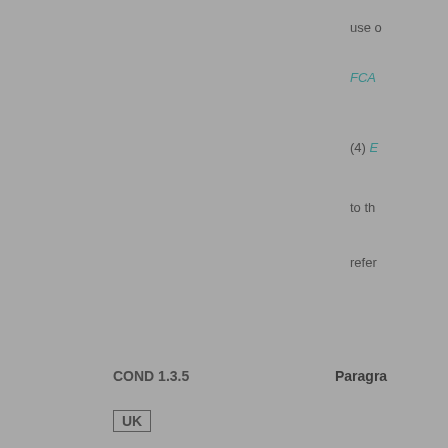use o
FCA
(4) E
to th
refer
COND 1.3.5
Paragra
UK
01/04/2013
(1) "
"con
"con
"fina
"fun
conf
"liab
"rele